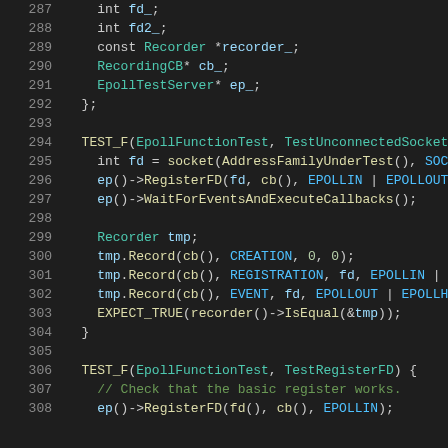Code listing lines 287-308, C++ source code showing EpollFunctionTest class members and test functions TestUnconnectedSocket and TestRegisterFD